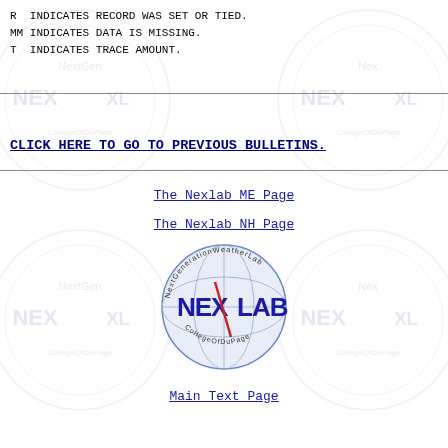R  INDICATES RECORD WAS SET OR TIED.
MM INDICATES DATA IS MISSING.
T  INDICATES TRACE AMOUNT.
CLICK HERE TO GO TO PREVIOUS BULLETINS.
The Nexlab ME Page
The Nexlab NH Page
[Figure (logo): Nexlab NextGenerationWeatherLab CollegeOfDuPage circular logo with NEXLAB text]
Main Text Page